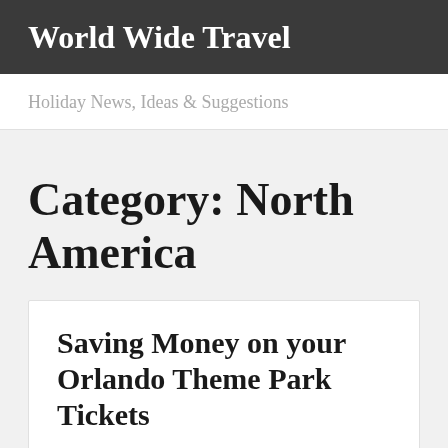World Wide Travel
Holiday News, Ideas & Suggestions
Category: North America
Saving Money on your Orlando Theme Park Tickets